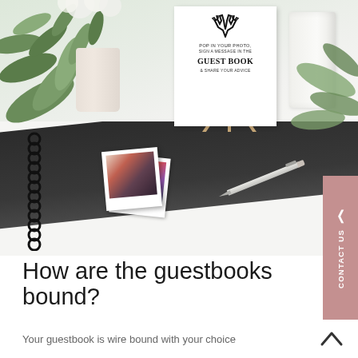[Figure (photo): Wedding guestbook photo setup. Top half shows a white desk with greenery, white flowers, a white candle, and a small sign on an easel reading 'POP IN YOUR PHOTO, SIGN A MESSAGE IN THE GUEST BOOK & SHARE YOUR ADVICE' with antler decoration. Bottom half shows an open black wire-bound guestbook with polaroid photos and a pen on it.]
How are the guestbooks bound?
Your guestbook is wire bound with your choice